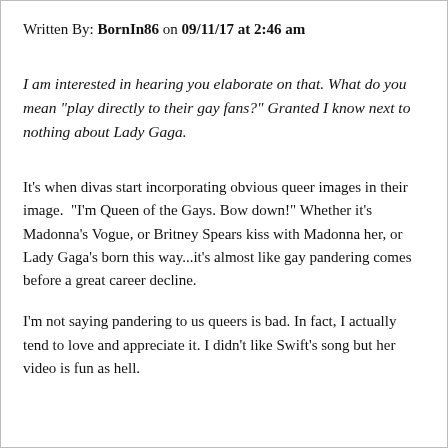Written By: BornIn86 on 09/11/17 at 2:46 am
I am interested in hearing you elaborate on that. What do you mean "play directly to their gay fans?" Granted I know next to nothing about Lady Gaga.
It's when divas start incorporating obvious queer images in their image.  "I'm Queen of the Gays. Bow down!" Whether it's Madonna's Vogue, or Britney Spears kiss with Madonna her, or Lady Gaga's born this way...it's almost like gay pandering comes before a great career decline.
I'm not saying pandering to us queers is bad. In fact, I actually tend to love and appreciate it. I didn't like Swift's song but her video is fun as hell.